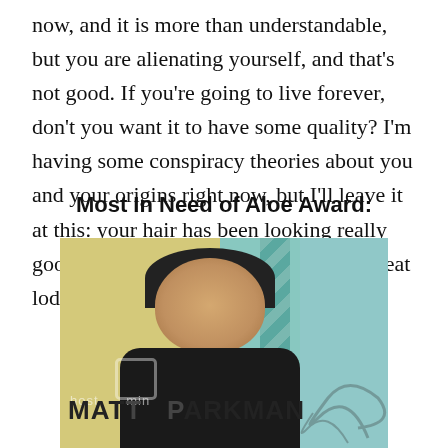now, and it is more than understandable, but you are alienating yourself, and that's not good. If you're going to live forever, don't you want it to have some quality? I'm having some conspiracy theories about you and your origins right now, but I'll leave it at this: your hair has been looking really good. Also, nice job in the suffocation/heat lodge scene. That was really intense.
Most In Need of Aloe Award:
[Figure (photo): Photo of a man with dark hair wearing a dark jacket, against a colorful background with yellow, teal, and striped patterns. Text overlay reads 'MATT PARKMAN' with watermark/logo visible.]